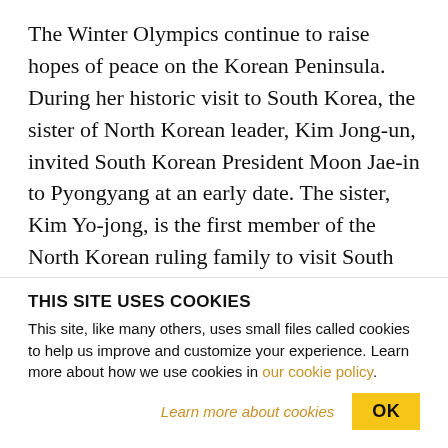The Winter Olympics continue to raise hopes of peace on the Korean Peninsula. During her historic visit to South Korea, the sister of North Korean leader, Kim Jong-un, invited South Korean President Moon Jae-in to Pyongyang at an early date. The sister, Kim Yo-jong, is the first member of the North Korean ruling family to visit South Korea since the Korean War. US Vice President, Mike Pence, followed that overture with an interview suggesting the US is open to talks with North Korea. But speaking today in Cairo, Secretary of State, Rex Tillerson, appeared
THIS SITE USES COOKIES
This site, like many others, uses small files called cookies to help us improve and customize your experience. Learn more about how we use cookies in our cookie policy.
Learn more about cookies